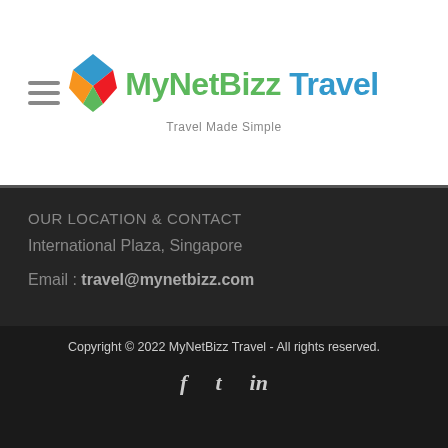[Figure (logo): MyNetBizz Travel logo with colorful geometric icon and tagline 'Travel Made Simple']
OUR LOCATION & CONTACT
International Plaza, Singapore
Email : travel@mynetbizz.com
Copyright © 2022 MyNetBizz Travel - All rights reserved.